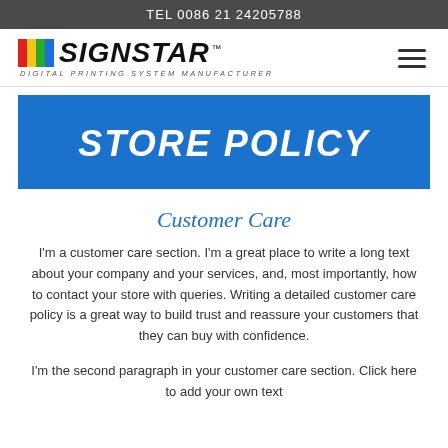TEL 0086 21 24205788
[Figure (logo): SIGNSTAR logo with colored vertical bars (red, yellow, green, blue) followed by bold italic SIGNSTAR text with TM mark, and subtitle DIGITAL PRINTING SYSTEM MANUFACTURER]
STORE POLICY
Customer Care
I'm a customer care section. I'm a great place to write a long text about your company and your services, and, most importantly, how to contact your store with queries. Writing a detailed customer care policy is a great way to build trust and reassure your customers that they can buy with confidence.
I'm the second paragraph in your customer care section. Click here to add your own text